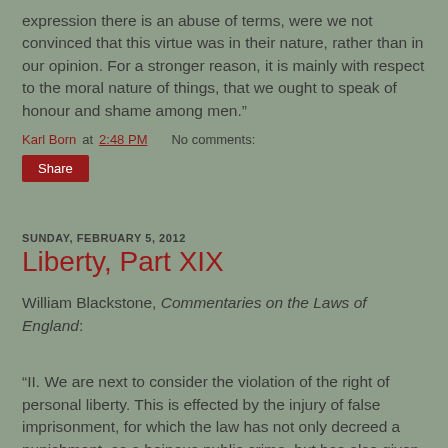expression there is an abuse of terms, were we not convinced that this virtue was in their nature, rather than in our opinion. For a stronger reason, it is mainly with respect to the moral nature of things, that we ought to speak of honour and shame among men.”
Karl Born at 2:48 PM    No comments:
Share
SUNDAY, FEBRUARY 5, 2012
Liberty, Part XIX
William Blackstone, Commentaries on the Laws of England:
“II. We are next to consider the violation of the right of personal liberty. This is effected by the injury of false imprisonment, for which the law has not only decreed a punishment, as a heinous public crime, but has also given a private reparation to the party; as well by removing the actual